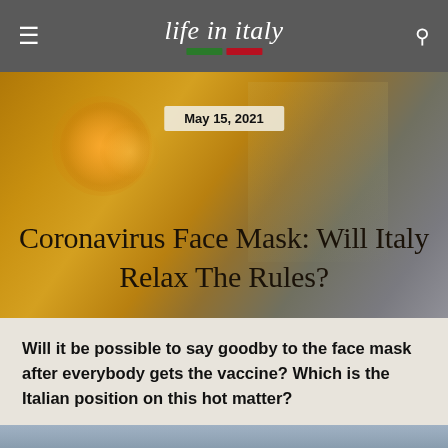life in italy
May 15, 2021
Coronavirus Face Mask: Will Italy Relax The Rules?
Will it be possible to say goodby to the face mask after everybody gets the vaccine? Which is the Italian position on this hot matter?
[Figure (photo): Person photographed from the shoulders up against a dramatic stormy grey sky background]